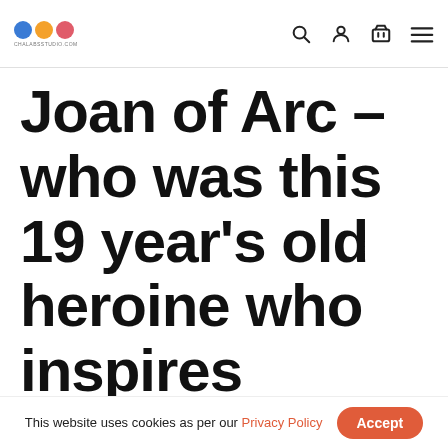chalabsstudio.com — navigation bar with logo and icons
Joan of Arc – who was this 19 year's old heroine who inspires everything from famous paintings to video games?
This website uses cookies as per our Privacy Policy  Accept